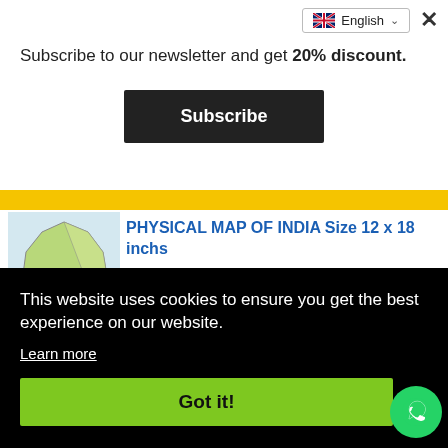Subscribe to our newsletter and get 20% discount.
Subscribe
PHYSICAL MAP OF INDIA Size 12 x 18 inchs
Rs. 60.00  Rs. 70.00
On
This website uses cookies to ensure you get the best experience on our website.
Learn more
Got it!